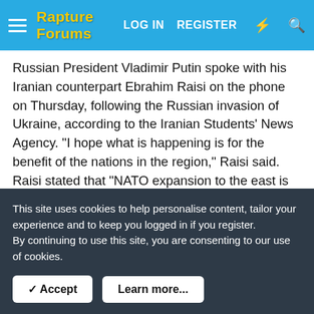Rapture Forums — LOG IN  REGISTER
Russian President Vladimir Putin spoke with his Iranian counterpart Ebrahim Raisi on the phone on Thursday, following the Russian invasion of Ukraine, according to the Iranian Students' News Agency. "I hope what is happening is for the benefit of the nations in the region," Raisi said. Raisi stated that "NATO expansion to the east is tense," emphasizing that expansion is a serious threat to the stability and security of independent countries in different regions.
Referring to Iran's active cooperation with the International Atomic Energy Agency (IAEA), Putin stressed the importance of continuing consultations between the two sides on nuclear
This site uses cookies to help personalise content, tailor your experience and to keep you logged in if you register.
By continuing to use this site, you are consenting to our use of cookies.